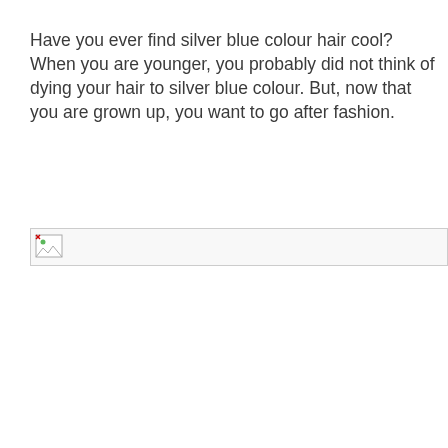Have you ever find silver blue colour hair cool? When you are younger, you probably did not think of dying your hair to silver blue colour. But, now that you are grown up, you want to go after fashion.
[Figure (photo): Broken/missing image placeholder with border]